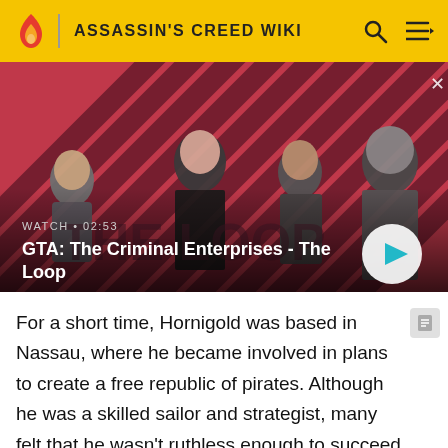ASSASSIN'S CREED WIKI
[Figure (screenshot): GTA: The Criminal Enterprises - The Loop video thumbnail with four characters on a red diagonal striped background. Text overlay: WATCH • 02:53, GTA: The Criminal Enterprises - The Loop]
For a short time, Hornigold was based in Nassau, where he became involved in plans to create a free republic of pirates. Although he was a skilled sailor and strategist, many felt that he wasn't ruthless enough to succeed as a true pirate.